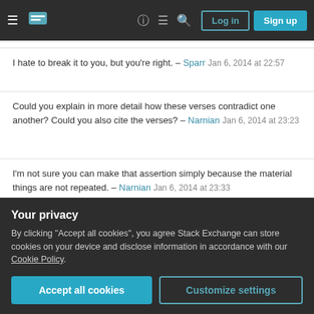Stack Exchange navigation header with Log in and Sign up buttons
I hate to break it to you, but you're right. – Sparr Jan 6, 2014 at 22:57
Could you explain in more detail how these verses contradict one another? Could you also cite the verses? – Narnian Jan 6, 2014 at 23:23
I'm not sure you can make that assertion simply because the material things are not repeated. – Narnian Jan 6, 2014 at 23:33
1 I don't see Matthew as referring exclusively to the next life. Why do you think that is what it is saying? – fredsbend
Your privacy
By clicking "Accept all cookies", you agree Stack Exchange can store cookies on your device and disclose information in accordance with our Cookie Policy.
Accept all cookies | Customize settings